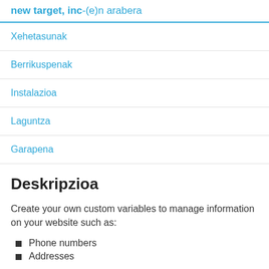new target, inc-(e)n arabera
Xehetasunak
Berrikuspenak
Instalazioa
Laguntza
Garapena
Deskripzioa
Create your own custom variables to manage information on your website such as:
Phone numbers
Addresses